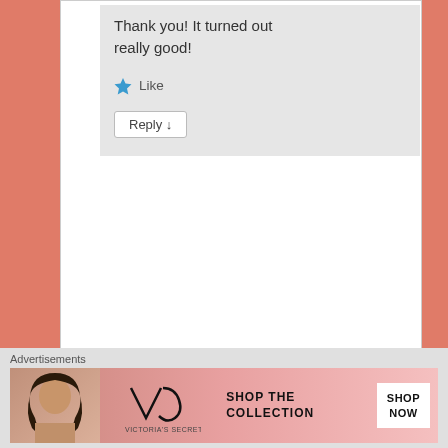Thank you! It turned out really good!
Like
Reply ↓
Advertisements
[Figure (illustration): Day ONE app advertisement on blue background showing a person with headphones flanked by two circular icons (notebook and checklist), with text 'DAY ONE' and 'The only journaling']
Advertisements
[Figure (illustration): Victoria's Secret advertisement showing a woman with curly hair on left, Victoria's Secret logo in center, 'SHOP THE COLLECTION' text, and 'SHOP NOW' button on right with pink background]